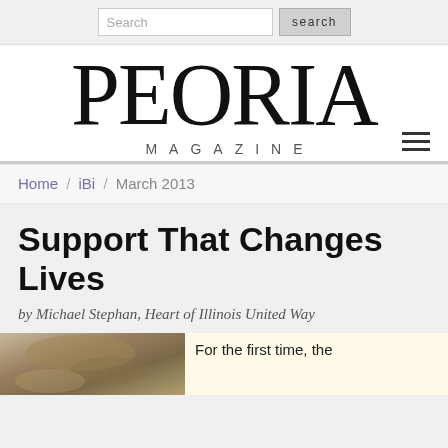Search | search
[Figure (logo): Peoria Magazine logo with large serif 'PEORIA' text and 'MAGAZINE' in spaced sans-serif below]
Home / iBi / March 2013
Support That Changes Lives
by Michael Stephan, Heart of Illinois United Way
[Figure (photo): Partial photo showing a person or nature scene with brown/tan tones]
For the first time, the